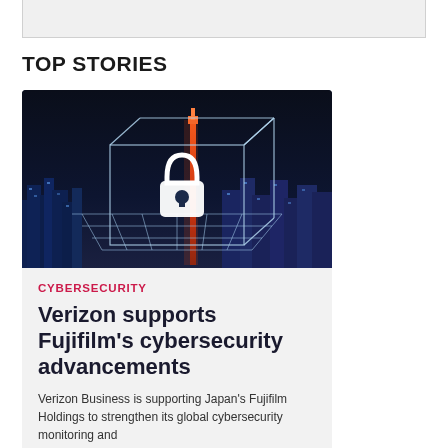[Figure (photo): Cybersecurity-themed image showing a glowing padlock icon over a wireframe cube grid, with a nighttime city skyline (featuring illuminated skyscrapers and an orange tower) in the background.]
TOP STORIES
CYBERSECURITY
Verizon supports Fujifilm's cybersecurity advancements
Verizon Business is supporting Japan's Fujifilm Holdings to strengthen its global cybersecurity monitoring and